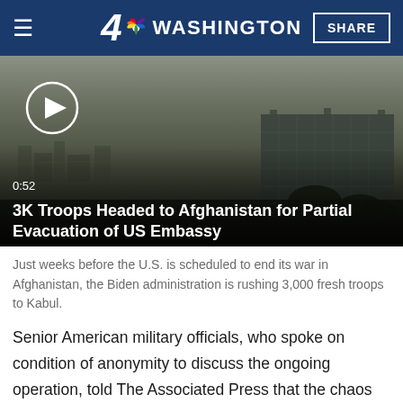4 WASHINGTON | SHARE
[Figure (screenshot): Video thumbnail showing an aerial/cityscape view of Kabul, Afghanistan with a large building visible in the hazy background. A play button circle is shown at upper left. Duration reads 0:52. Title: 3K Troops Headed to Afghanistan for Partial Evacuation of US Embassy.]
Just weeks before the U.S. is scheduled to end its war in Afghanistan, the Biden administration is rushing 3,000 fresh troops to Kabul.
Senior American military officials, who spoke on condition of anonymity to discuss the ongoing operation, told The Associated Press that the chaos left seven dead, including several who fell from the flight. Pentagon spokesman John Kirby said U.S. forces killed two armed individuals who had...